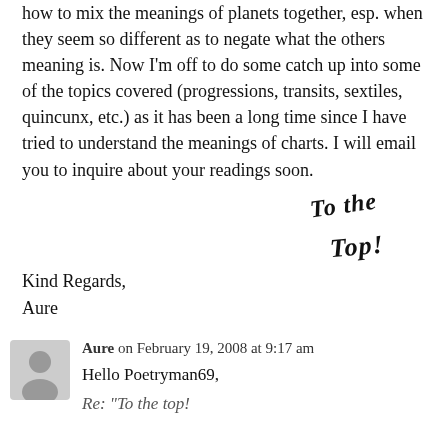how to mix the meanings of planets together, esp. when they seem so different as to negate what the others meaning is. Now I'm off to do some catch up into some of the topics covered (progressions, transits, sextiles, quincunx, etc.) as it has been a long time since I have tried to understand the meanings of charts. I will email you to inquire about your readings soon.
[Figure (illustration): Handwritten annotation reading 'To the Top!' in cursive script, written diagonally across the right margin near the end of the main paragraph.]
Kind Regards,
Aure
Aure on February 19, 2008 at 9:17 am
Hello Poetryman69,